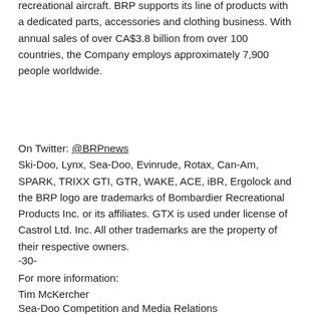recreational aircraft. BRP supports its line of products with a dedicated parts, accessories and clothing business. With annual sales of over CA$3.8 billion from over 100 countries, the Company employs approximately 7,900 people worldwide.
On Twitter: @BRPnews
Ski-Doo, Lynx, Sea-Doo, Evinrude, Rotax, Can-Am, SPARK, TRIXX GTI, GTR, WAKE, ACE, iBR, Ergolock and the BRP logo are trademarks of Bombardier Recreational Products Inc. or its affiliates. GTX is used under license of Castrol Ltd. Inc. All other trademarks are the property of their respective owners.
-30-
For more information:
Tim McKercher
Sea-Doo Competition and Media Relations
Tel: +1 321 409 0519